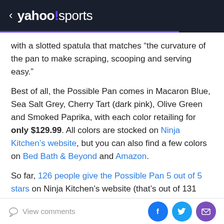< yahoo!sports
with a slotted spatula that matches “the curvature of the pan to make scraping, scooping and serving easy.”
Best of all, the Possible Pan comes in Macaron Blue, Sea Salt Grey, Cherry Tart (dark pink), Olive Green and Smoked Paprika, with each color retailing for only $129.99. All colors are stocked on Ninja Kitchen’s website, but you can also find a few colors on Bed Bath & Beyond and Amazon.
So far, 126 people give the Possible Pan 5 out of 5 stars on Ninja Kitchen’s website (that’s out of 131 reviews in total) and call it things like “high quality” and “the perfect-sized pan.”
View comments